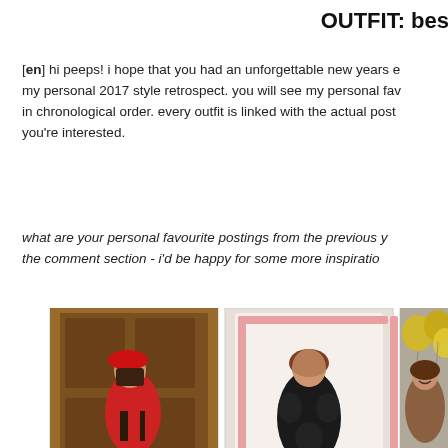OUTFIT: bes
[en] hi peeps! i hope that you had an unforgettable new years e... my personal 2017 style retrospect. you will see my personal fav... in chronological order. every outfit is linked with the actual post... you're interested.
what are your personal favourite postings from the previous y... the comment section - i'd be happy for some more inspiratio...
[Figure (photo): Three fashion photos: (1) woman in red blazer and red beret in front of ornate wooden door; (2) woman in black fluffy coat in front of pink-framed mirror; (3) woman holding gold balloons, smiling, wearing patterned outfit. Partial fourth image visible at right edge.]